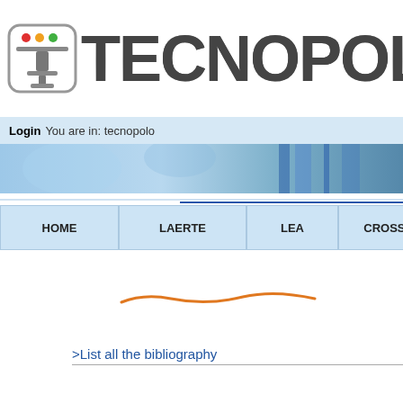[Figure (logo): Tecnopolo logo with icon and stylized TECNOPOLO text]
Login  You are in: tecnopolo
[Figure (photo): Banner strip with blue world map / abstract blue image]
[Figure (infographic): Navigation bar with HOME, LAERTE, LEA, CROSS-TEC (ICT...) buttons]
[Figure (illustration): Orange curved arrow/wave decoration]
>List all the bibliography